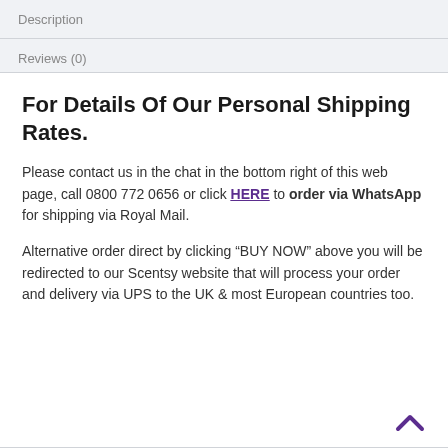Description
Reviews (0)
For Details Of Our Personal Shipping Rates.
Please contact us in the chat in the bottom right of this web page, call 0800 772 0656 or click HERE to order via WhatsApp for shipping via Royal Mail.
Alternative order direct by clicking “BUY NOW” above you will be redirected to our Scentsy website that will process your order and delivery via UPS to the UK & most European countries too.